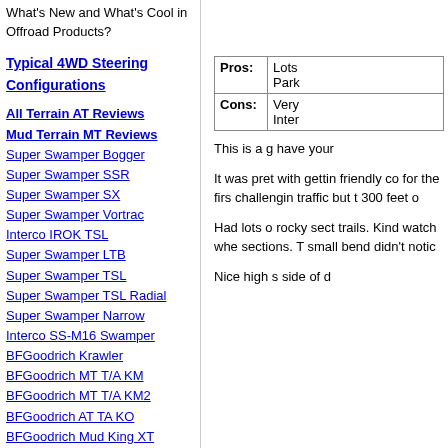What's New and What's Cool in Offroad Products?
Typical 4WD Steering Configurations
All Terrain AT Reviews
Mud Terrain MT Reviews
Super Swamper Bogger
Super Swamper SSR
Super Swamper SX
Super Swamper Vortrac
Interco IROK TSL
Super Swamper LTB
Super Swamper TSL
Super Swamper TSL Radial
Super Swamper Narrow
Interco SS-M16 Swamper
BFGoodrich Krawler
BFGoodrich MT T/A KM
BFGoodrich MT T/A KM2
BFGoodrich AT TA KO
BFGoodrich Mud King XT
Bridgestone Dueler MT
Cooper Discoverer ST
Cooper Discoverer STT
Cooper Discoverer ST/C
Dayton Timberline MT
Dayton Timberline AT
Dick Cepek Crusher
Dick Cepek F-C II
Dick Cepek Fun Country II
Dick Cepek Fun Country
|  |  |
| --- | --- |
| Pros: | Lots Park |
| Cons: | Very Inter |
This is a g have your
It was pret with gettin friendly co for the firs challengin traffic but t 300 feet o
Had lots o rocky sect trails. Kind watch whe sections. T small bend didn't notic
Nice high s side of d